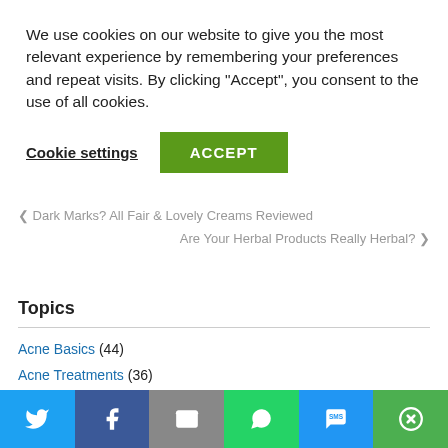We use cookies on our website to give you the most relevant experience by remembering your preferences and repeat visits. By clicking “Accept”, you consent to the use of all cookies.
Cookie settings | ACCEPT
< Dark Marks? All Fair & Lovely Creams Reviewed
Are Your Herbal Products Really Herbal? >
Topics
Acne Basics (44)
Acne Treatments (36)
forehead acne (1)
Buzz (25)
Daily Skin Care (42)
[Figure (other): Social share bar with Twitter, Facebook, Email, WhatsApp, SMS, and More buttons]